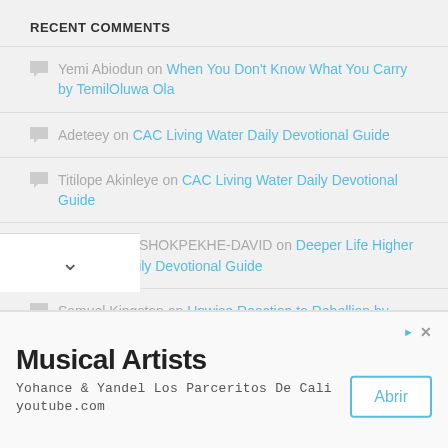RECENT COMMENTS
Yemi Abiodun on When You Don't Know What You Carry by TemilOluwa Ola
Adeteey on CAC Living Water Daily Devotional Guide
Titilope Akinleye on CAC Living Water Daily Devotional Guide
STEPHEN OSHOKPEKHE-DAVID on Deeper Life Higher Everyday Daily Devotional Guide
Samuel Kingston on Unwise Reaction to Rebellion by Pastor W.F Kumuyi
[Figure (other): Advertisement: Musical Artists - Yohance & Yandel Los Parceritos De Cali, youtube.com, with an Abrir button]